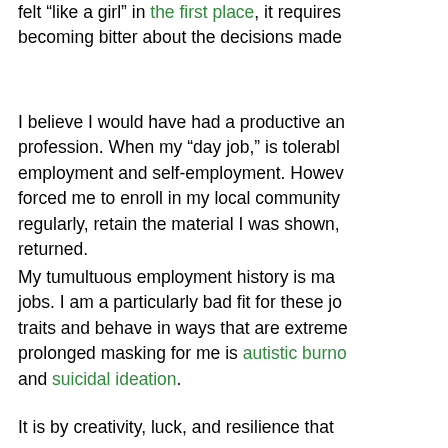felt “like a girl” in the first place, it requires becoming bitter about the decisions made
I believe I would have had a productive and rewarding profession. When my “day job,” is tolerable employment and self-employment. However, forced me to enroll in my local community regularly, retain the material I was shown, returned.
My tumultuous employment history is made up of jobs. I am a particularly bad fit for these jobs. traits and behave in ways that are extremely prolonged masking for me is autistic burnout and suicidal ideation.
It is by creativity, luck, and resilience that